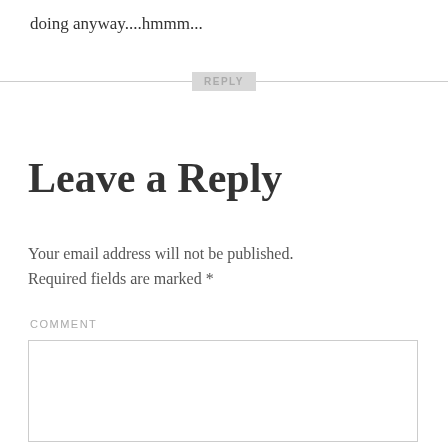doing anyway....hmmm...
[Figure (other): REPLY divider button with horizontal lines on both sides]
Leave a Reply
Your email address will not be published. Required fields are marked *
COMMENT
[Figure (other): Empty comment text area input box]